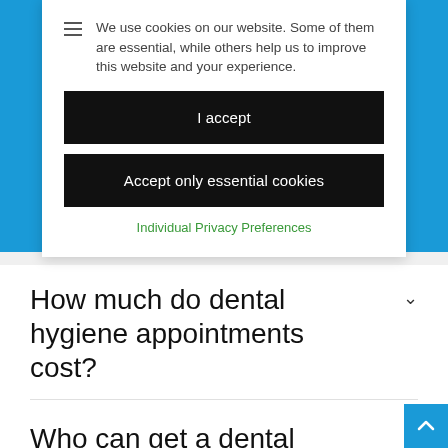We use cookies on our website. Some of them are essential, while others help us to improve this website and your experience.
I accept
Accept only essential cookies
Individual Privacy Preferences
How much do dental hygiene appointments cost?
Who can get a dental hygiene appointment?